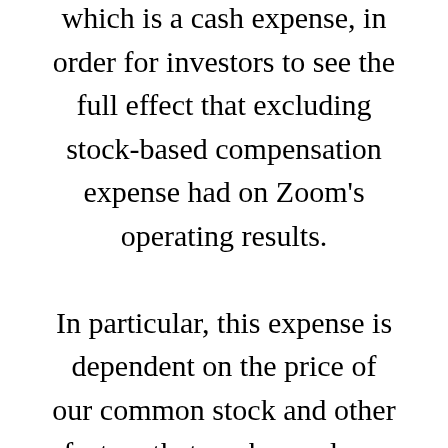which is a cash expense, in order for investors to see the full effect that excluding stock-based compensation expense had on Zoom's operating results.

In particular, this expense is dependent on the price of our common stock and other factors that are beyond our читать далее and do not correlate to the operation of the business. Zoom views acquisition-related expenses when applicable, such as amortization of acquired intangible assets, transaction costs